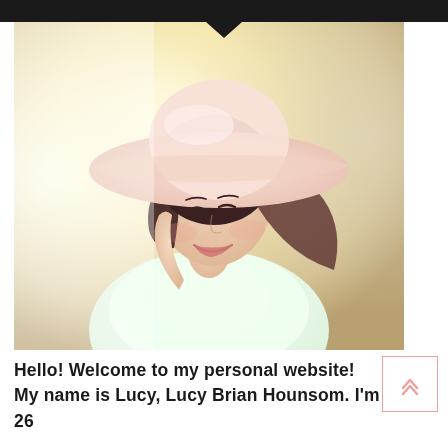[Figure (photo): Young woman smiling with eyes closed, wearing a large wide-brim pink hat and white top, against a soft warm blurred background. Dreamy, light-flooded portrait shot.]
Hello! Welcome to my personal website! My name is Lucy, Lucy Brian Hounsom. I'm 26